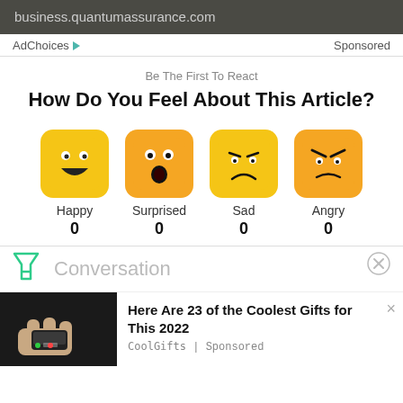business.quantumassurance.com
AdChoices ▷   Sponsored
Be The First To React
How Do You Feel About This Article?
[Figure (infographic): Four emoji reaction buttons labeled Happy, Surprised, Sad, Angry each showing 0 reactions]
Conversation
[Figure (infographic): Advertisement banner: photo of Nokia device on left, text 'Here Are 23 of the Coolest Gifts for This 2022' with CoolGifts | Sponsored]